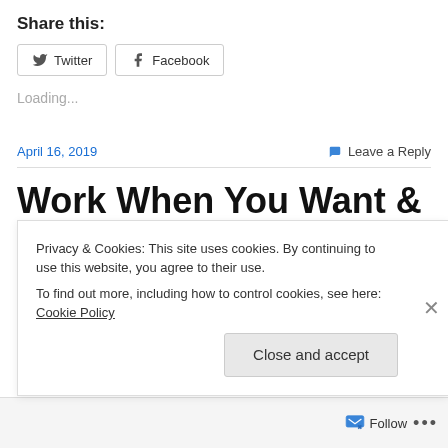Share this:
Twitter Facebook
Loading...
April 16, 2019
Leave a Reply
Work When You Want & Hang Out With Your Friends!!
Privacy & Cookies: This site uses cookies. By continuing to use this website, you agree to their use.
To find out more, including how to control cookies, see here: Cookie Policy
Close and accept
Follow ...